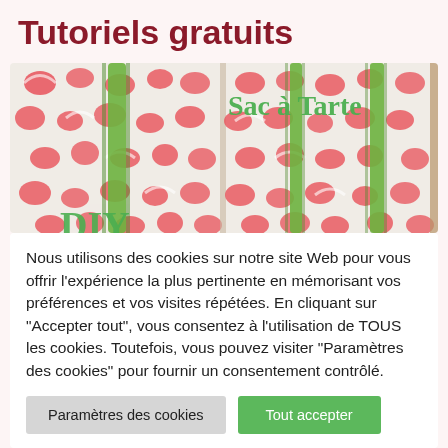Tutoriels gratuits
[Figure (photo): Photo of a fabric tote bag (Sac à Tarte) made with watermelon-patterned fabric and green ribbon handles. Text 'Sac à Tarte' overlaid in green on the right side.]
Nous utilisons des cookies sur notre site Web pour vous offrir l'expérience la plus pertinente en mémorisant vos préférences et vos visites répétées. En cliquant sur "Accepter tout", vous consentez à l'utilisation de TOUS les cookies. Toutefois, vous pouvez visiter "Paramètres des cookies" pour fournir un consentement contrôlé.
Paramètres des cookies | Tout accepter